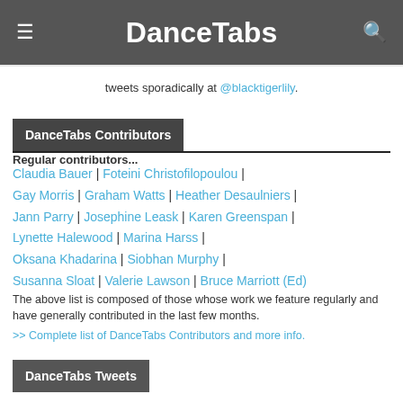DanceTabs
tweets sporadically at @blacktigerlily.
DanceTabs Contributors
Regular contributors...
Claudia Bauer | Foteini Christofilopoulou | Gay Morris | Graham Watts | Heather Desaulniers | Jann Parry | Josephine Leask | Karen Greenspan | Lynette Halewood | Marina Harss | Oksana Khadarina | Siobhan Murphy | Susanna Sloat | Valerie Lawson | Bruce Marriott (Ed)
The above list is composed of those whose work we feature regularly and have generally contributed in the last few months.
>> Complete list of DanceTabs Contributors and more info.
DanceTabs Tweets